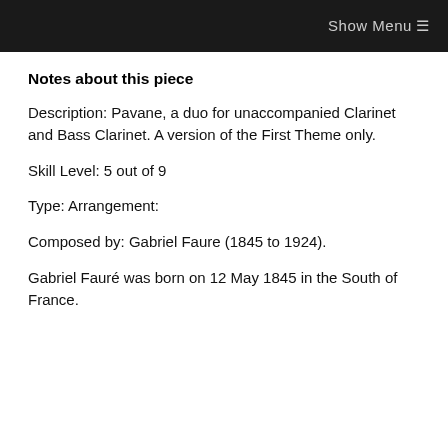Show Menu ☰
Notes about this piece
Description: Pavane, a duo for unaccompanied Clarinet and Bass Clarinet. A version of the First Theme only.
Skill Level: 5 out of 9
Type: Arrangement:
Composed by: Gabriel Faure (1845 to 1924).
Gabriel Fauré was born on 12 May 1845 in the South of France.